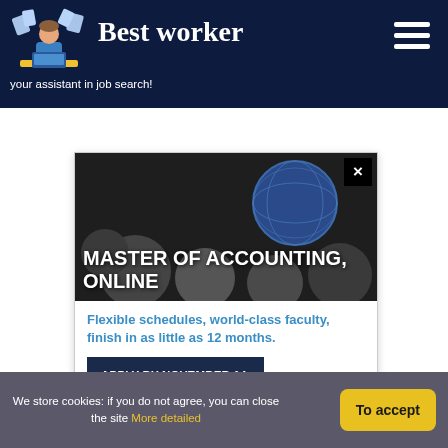Best worker — your assistant in job search!
[Figure (screenshot): Advertisement for Master of Accounting Online program. Shows bold white text 'MASTER OF ACCOUNTING, ONLINE' over a dark background with globe imagery. Includes blue subtext 'Flexible schedules, world-class faculty, finish in as little as 12 months.' and a dark navy CTA button 'APPLY BY NOVEMBER 14, START IN JANUARY'.]
We store cookies: if you do not agree, you can close the site More detailed
To accept